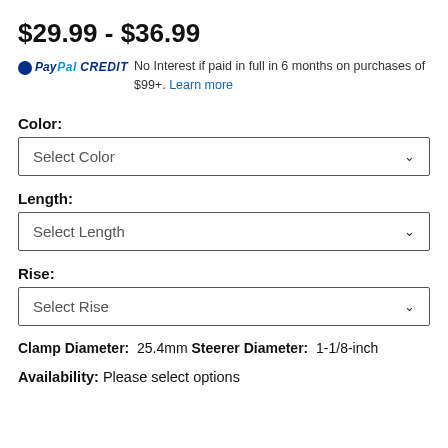$29.99 - $36.99
PayPal CREDIT  No Interest if paid in full in 6 months on purchases of $99+. Learn more
Color:
Select Color
Length:
Select Length
Rise:
Select Rise
Clamp Diameter:  25.4mm
Steerer Diameter:  1-1/8-inch
Availability: Please select options